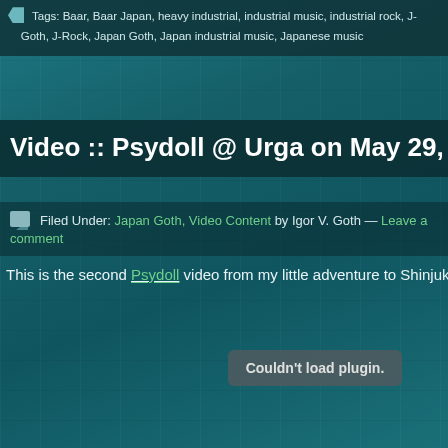Tags: Baar, Baar Japan, heavy industrial, industrial music, industrial rock, J-Goth, J-Rock, Japan Goth, Japan industrial music, Japanese music
Video :: Psydoll @ Urga on May 29, 2010 Part
Filed Under: Japan Goth, Video Content by Igor V. Goth — Leave a comment
This is the second Psydoll video from my little adventure to Shinjuku's Urga on
[Figure (other): Embedded video plugin area showing 'Couldn't load plugin.' error message on teal textured background]